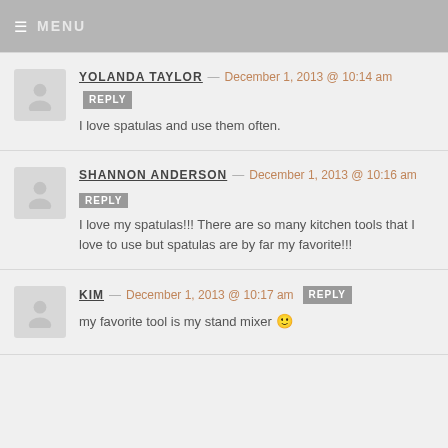≡ MENU
YOLANDA TAYLOR — December 1, 2013 @ 10:14 am [REPLY]
I love spatulas and use them often.
SHANNON ANDERSON — December 1, 2013 @ 10:16 am [REPLY]
I love my spatulas!!! There are so many kitchen tools that I love to use but spatulas are by far my favorite!!!
KIM — December 1, 2013 @ 10:17 am [REPLY]
my favorite tool is my stand mixer 🙂